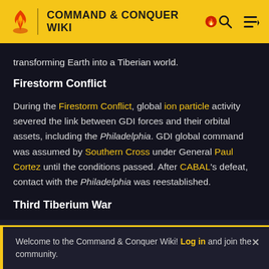COMMAND & CONQUER WIKI
transforming Earth into a Tiberian world.
Firestorm Conflict
During the Firestorm Conflict, global ion particle activity severed the link between GDI forces and their orbital assets, including the Philadelphia. GDI global command was assumed by Southern Cross under General Paul Cortez until the conditions passed. After CABAL's defeat, contact with the Philadelphia was reestablished.
Third Tiberium War
Welcome to the Command & Conquer Wiki! Log in and join the community.